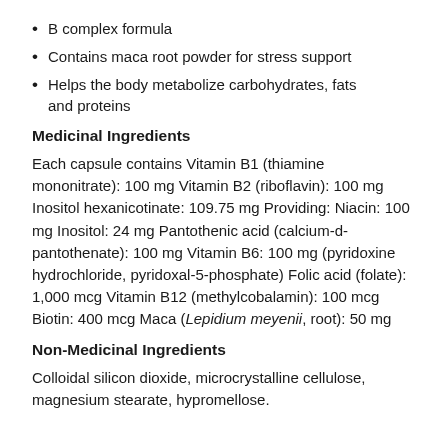B complex formula
Contains maca root powder for stress support
Helps the body metabolize carbohydrates, fats and proteins
Medicinal Ingredients
Each capsule contains Vitamin B1 (thiamine mononitrate): 100 mg Vitamin B2 (riboflavin): 100 mg Inositol hexanicotinate: 109.75 mg Providing: Niacin: 100 mg Inositol: 24 mg Pantothenic acid (calcium-d-pantothenate): 100 mg Vitamin B6: 100 mg (pyridoxine hydrochloride, pyridoxal-5-phosphate) Folic acid (folate): 1,000 mcg Vitamin B12 (methylcobalamin): 100 mcg Biotin: 400 mcg Maca (Lepidium meyenii, root): 50 mg
Non-Medicinal Ingredients
Colloidal silicon dioxide, microcrystalline cellulose, magnesium stearate, hypromellose.